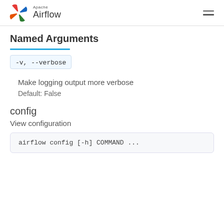Apache Airflow
Named Arguments
-v, --verbose
Make logging output more verbose
Default: False
config
View configuration
airflow config [-h] COMMAND ...